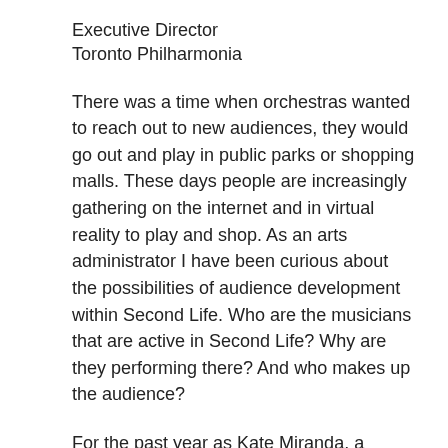Executive Director
Toronto Philharmonia
There was a time when orchestras wanted to reach out to new audiences, they would go out and play in public parks or shopping malls. These days people are increasingly gathering on the internet and in virtual reality to play and shop. As an arts administrator I have been curious about the possibilities of audience development within Second Life. Who are the musicians that are active in Second Life? Why are they performing there? And who makes up the audience?
For the past year as Kate Miranda, a member of the Cedar/Sea Turtle Community, I have learned about music streaming and assisted in the coordination and promotion of a classical music series in Second Life in a venue that our community built on the basis of a public